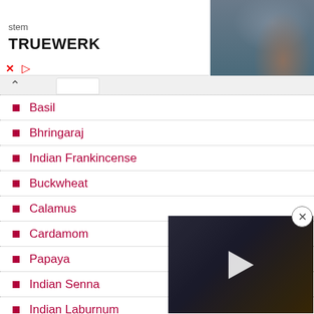[Figure (screenshot): Advertisement banner for TRUEWERK brand with partial text 'stem' visible, logo, and photo of person in construction setting on right side]
Basil
Bhringaraj
Indian Frankincense
Buckwheat
Calamus
Cardamom
Papaya
Indian Senna
Indian Laburnum
Cassia Tora
Castor
[Figure (screenshot): Video overlay panel showing people at an event with play button, with close (X) button in top right corner]